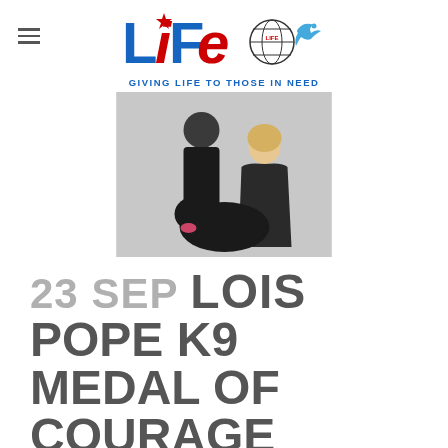LIFE — GIVING LIFE TO THOSE IN NEED
[Figure (photo): A man in a black suit bending down toward a black dog, next to an elderly woman with blonde hair wearing a black fluffy outfit, indoors]
23 SEP LOIS POPE K9 MEDAL OF COURAGE